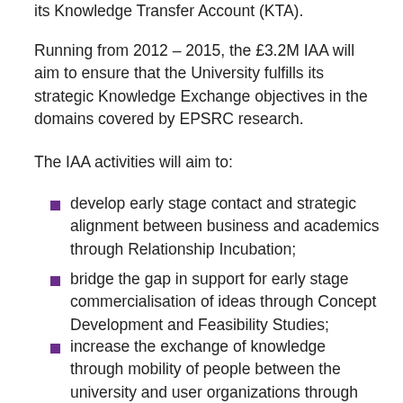its Knowledge Transfer Account (KTA).
Running from 2012 – 2015, the £3.2M IAA will aim to ensure that the University fulfills its strategic Knowledge Exchange objectives in the domains covered by EPSRC research.
The IAA activities will aim to:
develop early stage contact and strategic alignment between business and academics through Relationship Incubation;
bridge the gap in support for early stage commercialisation of ideas through Concept Development and Feasibility Studies;
increase the exchange of knowledge through mobility of people between the university and user organizations through Exploitation Secondments;